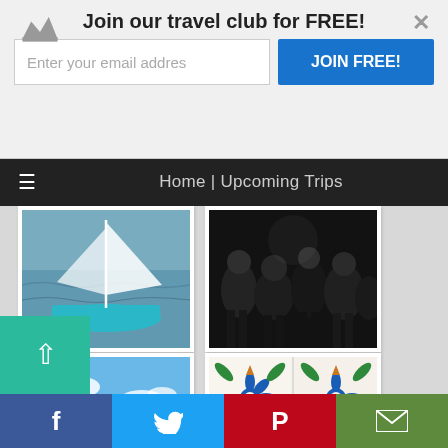Join our travel club for FREE!
Enter your email addres
JOIN FREE!
Home | Upcoming Trips
[Figure (photo): Partial view of a sailing boat on water]
[Figure (photo): Black and white crowd scene]
[Figure (photo): Two women with sunglasses looking at a coastal landscape]
[Figure (photo): Colorful decorative tile pattern with blue, green, and orange floral motifs]
[Figure (photo): Partially visible gray image with a pin/tack]
[Figure (photo): Partially visible blue sky image with a pin/tack]
f
Twitter bird icon
P
Email icon